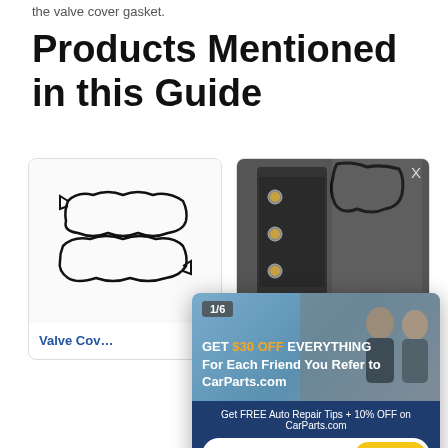the valve cover gasket.
Products Mentioned in this Guide
[Figure (photo): Valve cover gasket line art / rubber gasket product image in first product card]
[Figure (photo): Valve cover with gasket, real engine part photo in second product card]
Valve Cov...
[Figure (infographic): Popup overlay with promotional offer: 1/6, GET $30 OFF EVERYTHING For Each Friend You Refer to CarParts.com, Get FREE Auto Repair Tips + 10% OFF on CarParts.com, Email address sign up form]